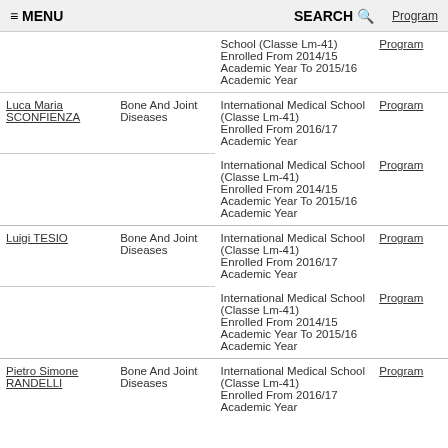≡ MENU   SEARCH 🔍   Program
| Name | Disease Area | Program Info | Link |
| --- | --- | --- | --- |
|  |  | School (Classe Lm-41) Enrolled From 2014/15 Academic Year To 2015/16 Academic Year | Program |
| Luca Maria SCONFIENZA | Bone And Joint Diseases | International Medical School (Classe Lm-41) Enrolled From 2016/17 Academic Year | Program |
|  |  | International Medical School (Classe Lm-41) Enrolled From 2014/15 Academic Year To 2015/16 Academic Year | Program |
| Luigi TESIO | Bone And Joint Diseases | International Medical School (Classe Lm-41) Enrolled From 2016/17 Academic Year | Program |
|  |  | International Medical School (Classe Lm-41) Enrolled From 2014/15 Academic Year To 2015/16 Academic Year | Program |
| Pietro Simone RANDELLI | Bone And Joint Diseases | International Medical School (Classe Lm-41) Enrolled From 2016/17 Academic Year | Program |